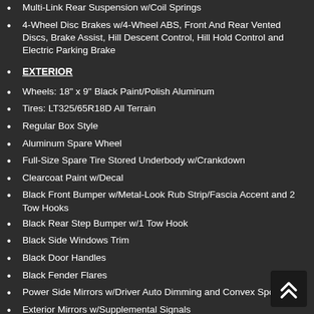Multi-Link Rear Suspension w/Coil Springs
4-Wheel Disc Brakes w/4-Wheel ABS, Front And Rear Vented Discs, Brake Assist, Hill Descent Control, Hill Hold Control and Electric Parking Brake
EXTERIOR
Wheels: 18" x 9" Black Paint/Polish Aluminum
Tires: LT325/65R18D All Terrain
Regular Box Style
Aluminum Spare Wheel
Full-Size Spare Tire Stored Underbody w/Crankdown
Clearcoat Paint w/Decal
Black Front Bumper w/Metal-Look Rub Strip/Fascia Accent and 2 Tow Hooks
Black Rear Step Bumper w/1 Tow Hook
Black Side Windows Trim
Black Door Handles
Black Fender Flares
Power Side Mirrors w/Driver Auto Dimming and Convex Spotter
Exterior Mirrors w/Supplemental Signals
Power Folding Mirrors